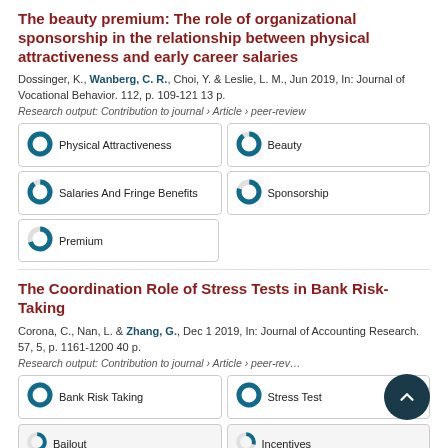The beauty premium: The role of organizational sponsorship in the relationship between physical attractiveness and early career salaries
Dossinger, K., Wanberg, C. R., Choi, Y. & Leslie, L. M., Jun 2019, In: Journal of Vocational Behavior. 112, p. 109-121 13 p.
Research output: Contribution to journal › Article › peer-review
[Figure (infographic): Five keyword badges: Physical Attractiveness (100%), Beauty (90%), Salaries And Fringe Benefits (90%), Sponsorship (80%), Premium (70%)]
The Coordination Role of Stress Tests in Bank Risk-Taking
Corona, C., Nan, L. & Zhang, G., Dec 1 2019, In: Journal of Accounting Research. 57, 5, p. 1161-1200 40 p.
Research output: Contribution to journal › Article › peer-review
[Figure (infographic): Keyword badges: Bank Risk Taking (100%), Stress Test (100%), Bailout (partial), Incentives (partial)]